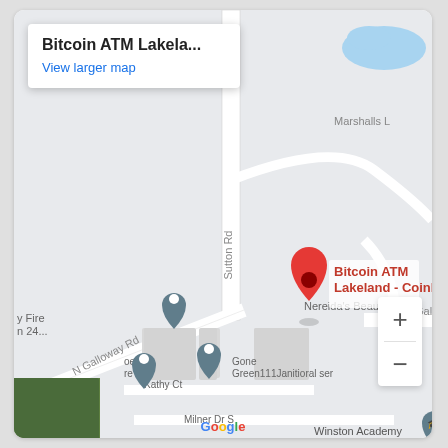[Figure (map): Google Maps screenshot showing Bitcoin ATM Lakeland - Coinhub location on Sutton Rd near N Galloway Rd in Lakeland. Map shows nearby streets including Backwoods Dr, N Galloway Rd, and Kathy Ct, and nearby businesses including Nereida's Beauty Salon, Gone Green111Janitioral ser, Winston Academy of Engineering. A red map pin marks the Bitcoin ATM Coinhub location. Two blue map pins mark other locations. An info box at top left reads 'Bitcoin ATM Lakela...' and 'View larger map'. Zoom controls (+/-) visible at bottom right. Satellite thumbnail at bottom left. Google logo at bottom center.]